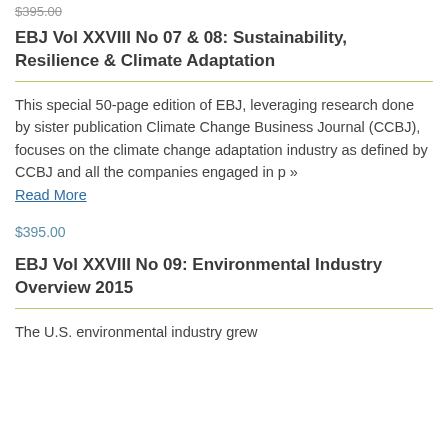EBJ Vol XXVIII No 07 & 08: Sustainability, Resilience & Climate Adaptation
This special 50-page edition of EBJ, leveraging research done by sister publication Climate Change Business Journal (CCBJ), focuses on the climate change adaptation industry as defined by CCBJ and all the companies engaged in p » Read More
$395.00
EBJ Vol XXVIII No 09: Environmental Industry Overview 2015
The U.S. environmental industry grew